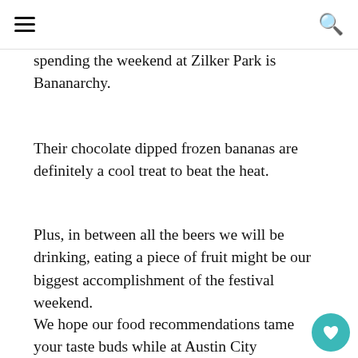☰ [menu icon] | [search icon]
spending the weekend at Zilker Park is Bananarchy.
Their chocolate dipped frozen bananas are definitely a cool treat to beat the heat.
Plus, in between all the beers we will be drinking, eating a piece of fruit might be our biggest accomplishment of the festival weekend.
We hope our food recommendations tame your taste buds while at Austin City Limits.
In case you aren't able to make ACL this